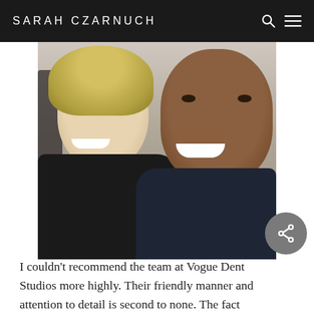SARAH CZARNUCH
[Figure (photo): Selfie photo of two people smiling: a blonde woman on the left wearing a black top, and a man with darker skin on the right wearing a dark navy t-shirt, taken indoors in what appears to be a salon or studio setting.]
I couldn't recommend the team at Vogue Dent Studios more highly. Their friendly manner and attention to detail is second to none. The fact